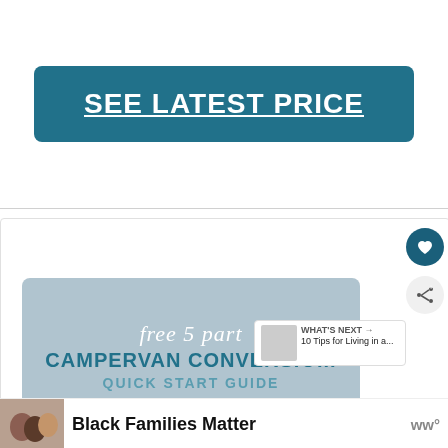SEE LATEST PRICE
[Figure (infographic): Campervan Conversion Quick Start Guide banner — blue-gray background with italic white 'free 5 part' text, teal bold 'CAMPERVAN CONVERSION' title, and 'QUICK START GUIDE' subtitle]
WHAT'S NEXT → 10 Tips for Living in a...
Black Families Matter